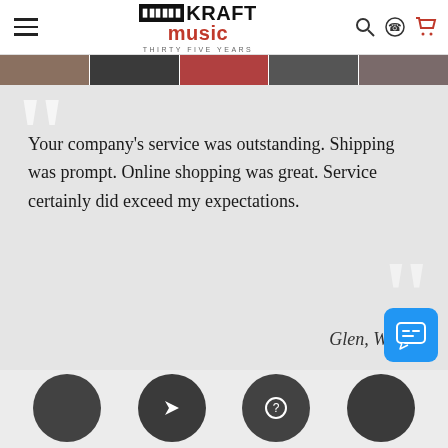Kraft Music — Thirty Five Years
[Figure (photo): Horizontal strip of five thumbnail photos of musicians/performers]
Your company's service was outstanding. Shipping was prompt. Online shopping was great. Service certainly did exceed my expectations.
Glen, WA
[Figure (illustration): Four dark circular icon buttons at the bottom of the page]
[Figure (illustration): Blue chat button with speech bubble icon in bottom right corner]